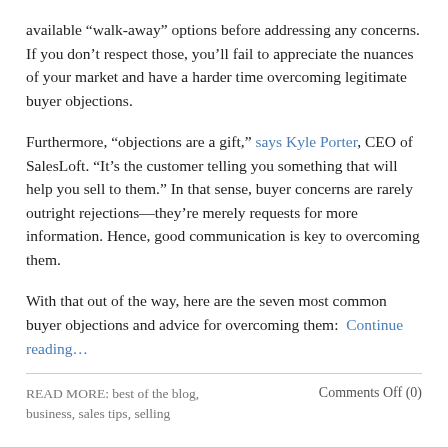available “walk-away” options before addressing any concerns. If you don’t respect those, you’ll fail to appreciate the nuances of your market and have a harder time overcoming legitimate buyer objections.
Furthermore, “objections are a gift,” says Kyle Porter, CEO of SalesLoft. “It’s the customer telling you something that will help you sell to them.” In that sense, buyer concerns are rarely outright rejections—they’re merely requests for more information. Hence, good communication is key to overcoming them.
With that out of the way, here are the seven most common buyer objections and advice for overcoming them:  Continue reading…
READ MORE: best of the blog, business, sales tips, selling
Comments Off (0)